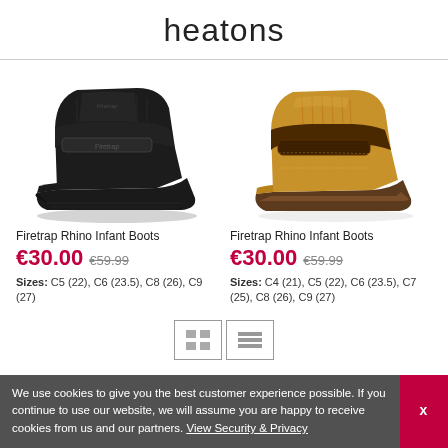heatons
[Figure (photo): Black Firetrap Rhino Infant Boot - left product image]
[Figure (photo): Tan/wheat Firetrap Rhino Infant Boot - right product image]
Firetrap Rhino Infant Boots
€30.00  €59.99
Sizes:  C5 (22), C6 (23.5), C8 (26), C9 (27)
Firetrap Rhino Infant Boots
€30.00  €59.99
Sizes:  C4 (21), C5 (22), C6 (23.5), C7 (25), C8 (26), C9 (27)
We use cookies to give you the best customer experience possible. If you continue to use our website, we will assume you are happy to receive cookies from us and our partners. View Security & Privacy